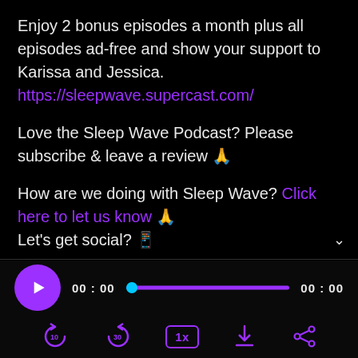Enjoy 2 bonus episodes a month plus all episodes ad-free and show your support to Karissa and Jessica. https://sleepwave.supercast.com/
Love the Sleep Wave Podcast? Please subscribe & leave a review 🙏
How are we doing with Sleep Wave? Click here to let us know 🙏
Let's get social? 📱
[Figure (screenshot): Audio player widget showing play button, progress bar at 00:00 / 00:00, with controls for rewind 10s, forward 30s, 1x speed, download, and share buttons in purple.]